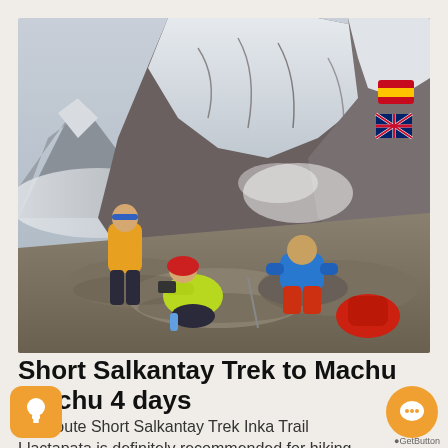[Figure (photo): Three hikers resting on rocky terrain at high altitude mountain pass. One person in yellow jacket and blue headband standing, one in red hat and yellow-green jacket crouching and taking a photo, one in blue jacket sitting on rocks. Snow-covered rocky mountain peaks and misty clouds in background. Small Spanish and UK flags visible in upper right corner of image.]
Short Salkantay Trek to Machu Picchu 4 days
The route Short Salkantay Trek Inka Trail Llactapata is definitely recommended for hiking lovers,...